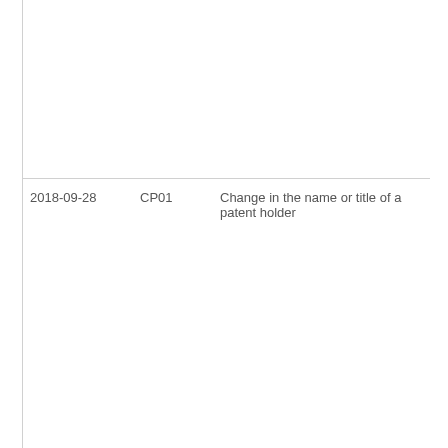| Date | Code | Description |
| --- | --- | --- |
| 2018-09-28 | CP01 | Change in the name or title of a patent holder |